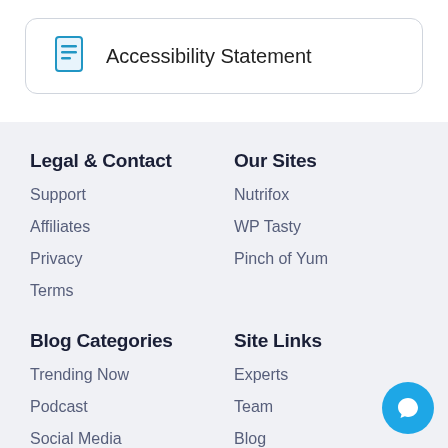Accessibility Statement
Legal & Contact
Support
Affiliates
Privacy
Terms
Our Sites
Nutrifox
WP Tasty
Pinch of Yum
Blog Categories
Trending Now
Podcast
Social Media
Site Links
Experts
Team
Blog